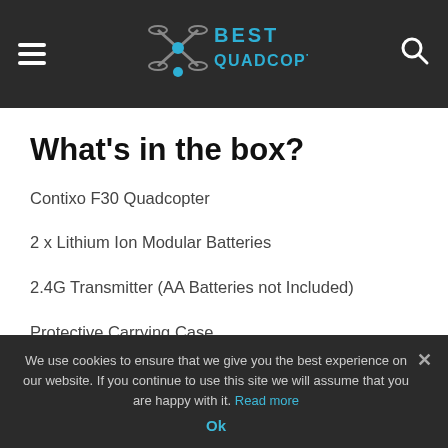Best Quadcopter
What's in the box?
Contixo F30 Quadcopter
2 x Lithium Ion Modular Batteries
2.4G Transmitter (AA Batteries not Included)
Protective Carrying Case
We use cookies to ensure that we give you the best experience on our website. If you continue to use this site we will assume that you are happy with it. Read more
Ok